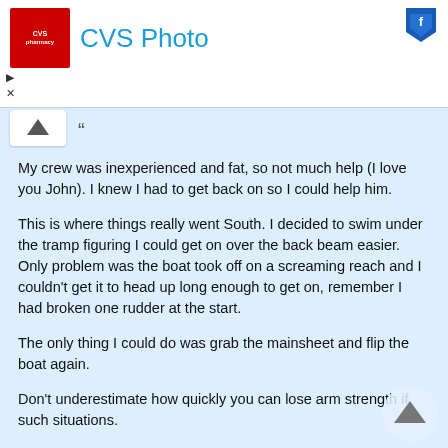[Figure (screenshot): CVS Pharmacy logo and CVS Photo advertisement banner at top of page]
My crew was inexperienced and fat, so not much help (I love you John). I knew I had to get back on so I could help him.
This is where things really went South. I decided to swim under the tramp figuring I could get on over the back beam easier. Only problem was the boat took off on a screaming reach and I couldn't get it to head up long enough to get on, remember I had broken one rudder at the start.
The only thing I could do was grab the mainsheet and flip the boat again.
Don't underestimate how quickly you can lose arm strength if such situations.
So back to the MOB situation...I think you must get the boat to head up and that will only happed if the main is tight. Releasing the main will only make the boat go faster, even if you are tethered to it.